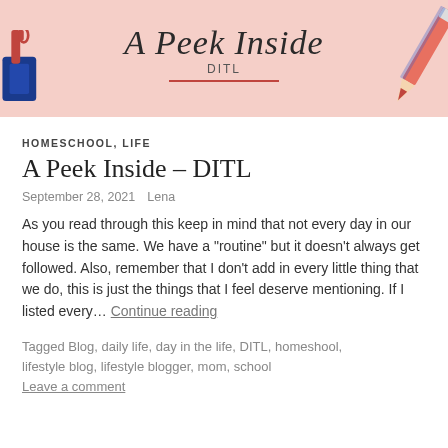[Figure (illustration): Blog header banner with pink background, cursive text 'A Peek Inside', subtitle 'DITL', red underline, blue binder clip on left, red and blue pencil on right]
HOMESCHOOL, LIFE
A Peek Inside – DITL
September 28, 2021   Lena
As you read through this keep in mind that not every day in our house is the same. We have a "routine" but it doesn't always get followed. Also, remember that I don't add in every little thing that we do, this is just the things that I feel deserve mentioning. If I listed every… Continue reading
Tagged Blog, daily life, day in the life, DITL, homeshool, lifestyle blog, lifestyle blogger, mom, school
Leave a comment